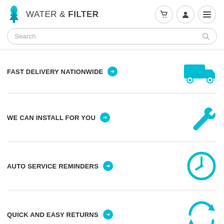WATER & FILTER
Search
FAST DELIVERY NATIONWIDE
WE CAN INSTALL FOR YOU
AUTO SERVICE REMINDERS
QUICK AND EASY RETURNS